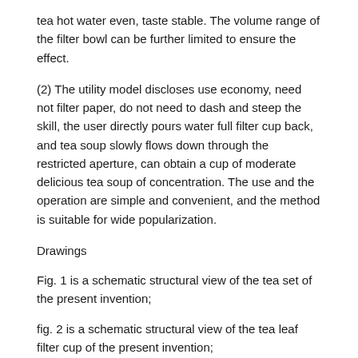tea hot water even, taste stable. The volume range of the filter bowl can be further limited to ensure the effect.
(2) The utility model discloses use economy, need not filter paper, do not need to dash and steep the skill, the user directly pours water full filter cup back, and tea soup slowly flows down through the restricted aperture, can obtain a cup of moderate delicious tea soup of concentration. The use and the operation are simple and convenient, and the method is suitable for wide popularization.
Drawings
Fig. 1 is a schematic structural view of the tea set of the present invention;
fig. 2 is a schematic structural view of the tea leaf filter cup of the present invention;
FIG. 3 is a top view of the tea cup body of the present invention;
fig. 4 is a schematic structural diagram of the filter-free filter screen of the present invention.